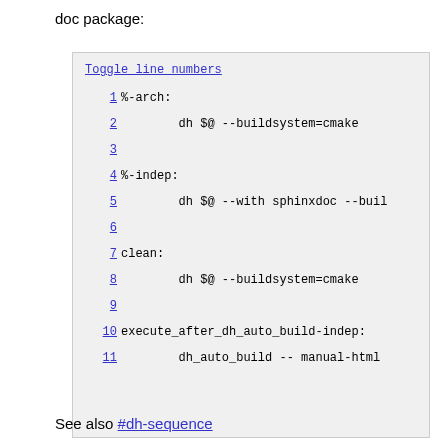doc package:
[Figure (screenshot): Code block with line numbers 1-11 showing a debian/rules makefile snippet with %-arch, %-indep, clean, and execute_after_dh_auto_build-indep targets]
See also #dh-sequence